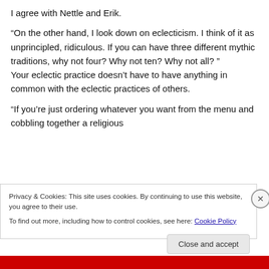I agree with Nettle and Erik.
“On the other hand, I look down on eclecticism. I think of it as unprincipled, ridiculous. If you can have three different mythic traditions, why not four? Why not ten? Why not all? ” Your eclectic practice doesn’t have to have anything in common with the eclectic practices of others.
“If you’re just ordering whatever you want from the menu and cobbling together a religious
Privacy & Cookies: This site uses cookies. By continuing to use this website, you agree to their use.
To find out more, including how to control cookies, see here: Cookie Policy
Close and accept